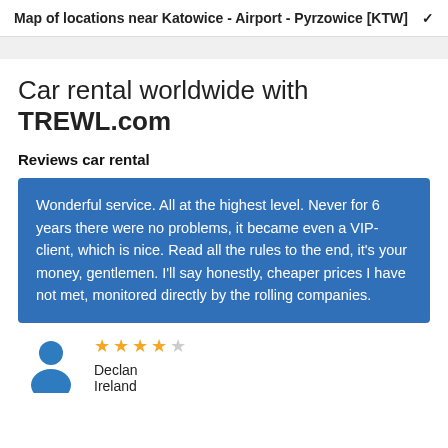Map of locations near Katowice - Airport - Pyrzowice [KTW]
Car rental worldwide with TREWL.com
Reviews car rental
Wonderful service. All at the highest level. Never for 6 years there were no problems, it became even a VIP-client, which is nice. Read all the rules to the end, it's your money, gentlemen. I'll say honestly, cheaper prices I have not met, monitored directly by the rolling companies.
Declan
Ireland